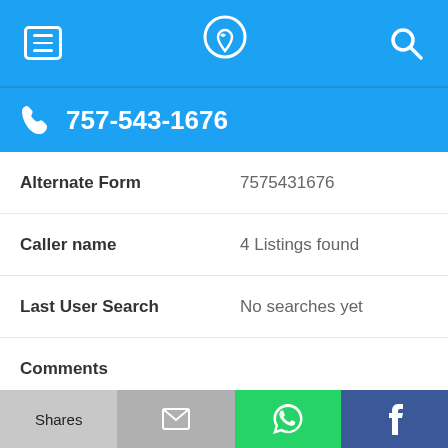Navigation bar with menu, phone/location, and search icons
757-543-1676
| Field | Value |
| --- | --- |
| Alternate Form | 7575431676 |
| Caller name | 4 Listings found |
| Last User Search | No searches yet |
| Comments |  |
757-543-1882
Shares | Email | WhatsApp | Facebook